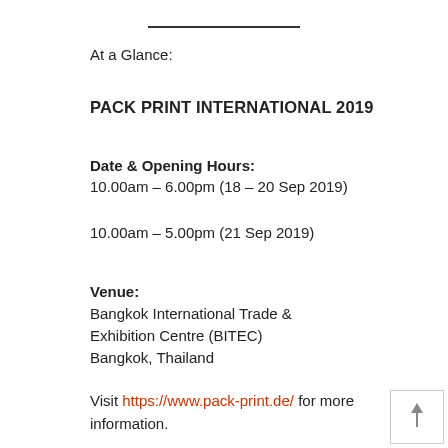At a Glance:
PACK PRINT INTERNATIONAL 2019
Date & Opening Hours:
10.00am – 6.00pm (18 – 20 Sep 2019)
10.00am – 5.00pm (21 Sep 2019)
Venue:
Bangkok International Trade & Exhibition Centre (BITEC)
Bangkok, Thailand
Visit https://www.pack-print.de/ for more information.